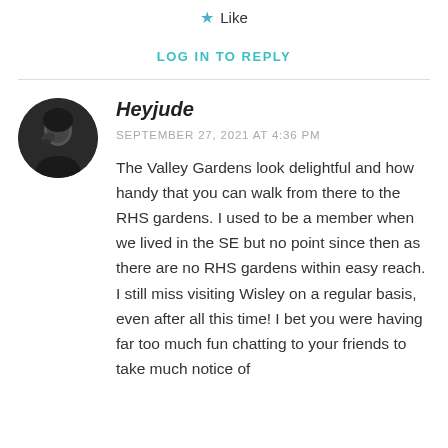★ Like
LOG IN TO REPLY
Heyjude
SEPTEMBER 27, 2021 AT 4:36 PM
The Valley Gardens look delightful and how handy that you can walk from there to the RHS gardens. I used to be a member when we lived in the SE but no point since then as there are no RHS gardens within easy reach. I still miss visiting Wisley on a regular basis, even after all this time! I bet you were having far too much fun chatting to your friends to take much notice of